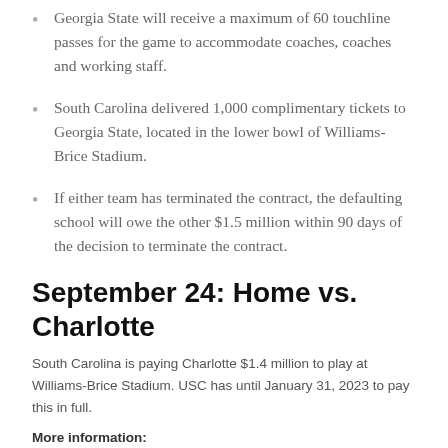Georgia State will receive a maximum of 60 touchline passes for the game to accommodate coaches, coaches and working staff.
South Carolina delivered 1,000 complimentary tickets to Georgia State, located in the lower bowl of Williams-Brice Stadium.
If either team has terminated the contract, the defaulting school will owe the other $1.5 million within 90 days of the decision to terminate the contract.
September 24: Home vs. Charlotte
South Carolina is paying Charlotte $1.4 million to play at Williams-Brice Stadium. USC has until January 31, 2023 to pay this in full.
More information: